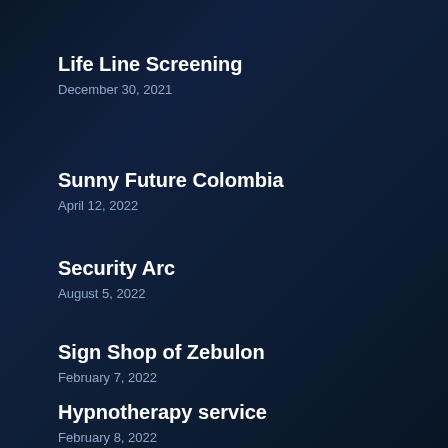Life Line Screening
December 30, 2021
Sunny Future Colombia
April 12, 2022
Security Arc
August 5, 2022
Sign Shop of Zebulon
February 7, 2022
Hypnotherapy service
February 8, 2022